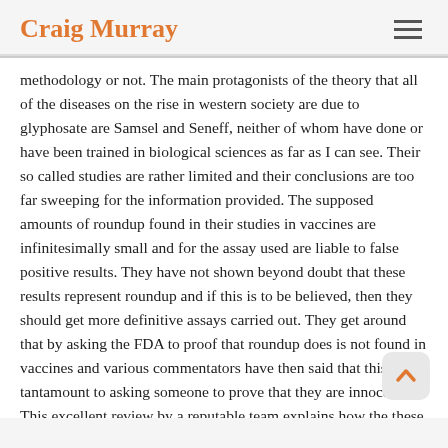Craig Murray
methodology or not. The main protagonists of the theory that all of the diseases on the rise in western society are due to glyphosate are Samsel and Seneff, neither of whom have done or have been trained in biological sciences as far as I can see. Their so called studies are rather limited and their conclusions are too far sweeping for the information provided. The supposed amounts of roundup found in their studies in vaccines are infinitesimally small and for the assay used are liable to false positive results. They have not shown beyond doubt that these results represent roundup and if this is to be believed, then they should get more definitive assays carried out. They get around that by asking the FDA to proof that roundup does is not found in vaccines and various commentators have then said that this is tantamount to asking someone to prove that they are innocent. This excellent review by a reputable team explains how the these scientists used a system of deduction called syllogism to reach their unfounded conclusions.
"The f...